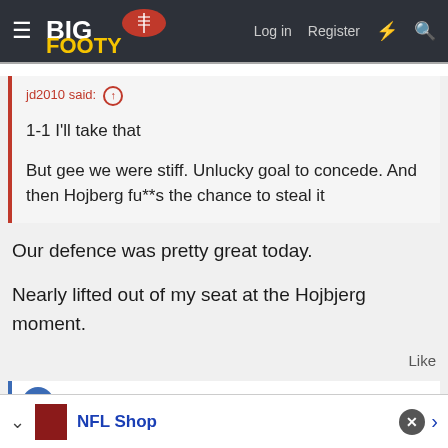BigFooty — Log in  Register
jd2010 said: ↑

1-1 I'll take that

But gee we were stiff. Unlucky goal to concede. And then Hojberg fu**s the chance to steal it
Our defence was pretty great today.

Nearly lifted out of my seat at the Hojbjerg moment.
Like
[Figure (screenshot): NFL Shop advertisement banner at the bottom of the page]